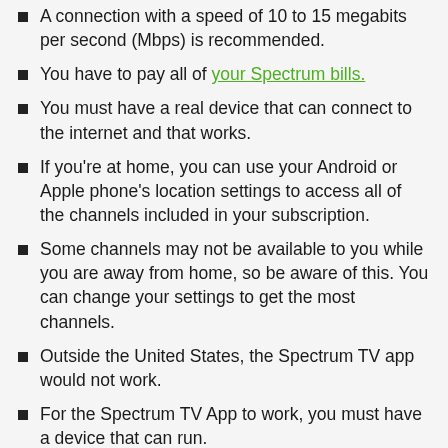A connection with a speed of 10 to 15 megabits per second (Mbps) is recommended.
You have to pay all of your Spectrum bills.
You must have a real device that can connect to the internet and that works.
If you're at home, you can use your Android or Apple phone's location settings to access all of the channels included in your subscription.
Some channels may not be available to you while you are away from home, so be aware of this. You can change your settings to get the most channels.
Outside the United States, the Spectrum TV app would not work.
For the Spectrum TV App to work, you must have a device that can run.